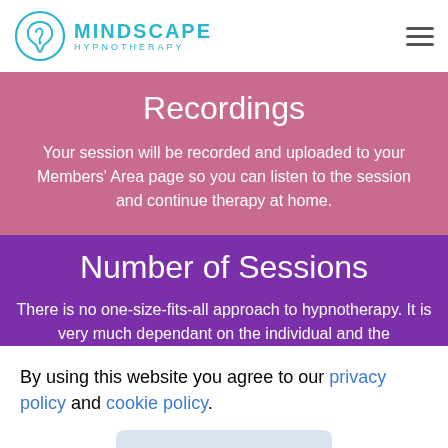MINDSCAPE HYPNOTHERAPY
Recordings
Your session will be recorded and uploaded to your Members' Area page so you can listen to the session and continue therapy at home.
Number of Sessions
There is no one-size-fits-all approach to hypnotherapy. It is very much dependant on the individual and the
By using this website you agree to our privacy policy and cookie policy.
Accept